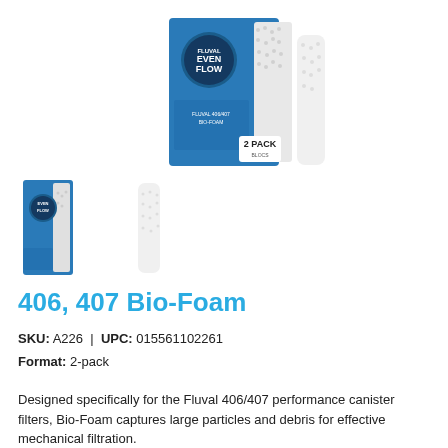[Figure (photo): Product photo of Fluval 406/407 Bio-Foam 2-pack in blue and white packaging with foam pieces visible]
[Figure (photo): Thumbnail of Fluval Bio-Foam product box (small) and a white foam block piece shown separately]
406, 407 Bio-Foam
SKU: A226  |  UPC: 015561102261
Format: 2-pack
Designed specifically for the Fluval 406/407 performance canister filters, Bio-Foam captures large particles and debris for effective mechanical filtration.